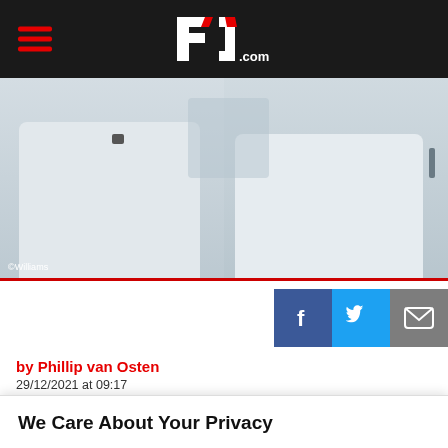f1.com
[Figure (photo): Two people wearing white t-shirts, photo credited to Williams]
by Phillip van Osten
29/12/2021 at 09:17
We Care About Your Privacy
We and our partners store and/or access information on a device, such as unique IDs in cookies to process personal data. You may accept or manage your choices by clicking below, including your right to object where legitimate interest is used, or at any time in the privacy policy page. These choices will be signaled to our partners and will not affect browsing data.